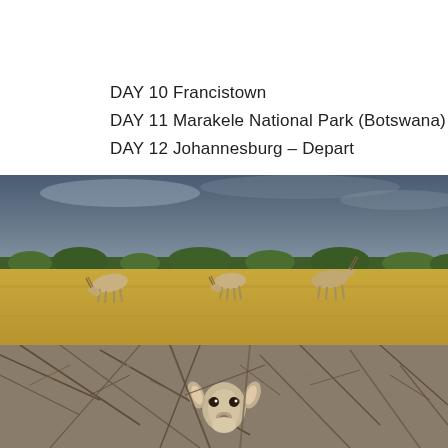DAY 10 Francistown
DAY 11 Marakele National Park (Botswana)
DAY 12 Johannesburg – Depart
[Figure (photo): Wide savanna landscape with golden grassland in the foreground, scattered low green shrubs and bushes in the middle distance, and three oryx/gemsbok grazing. Dark stormy blue-grey sky above.]
[Figure (photo): Close-up of a small antelope or gazelle peeking through dense dry thornbush branches, looking directly at the camera.]